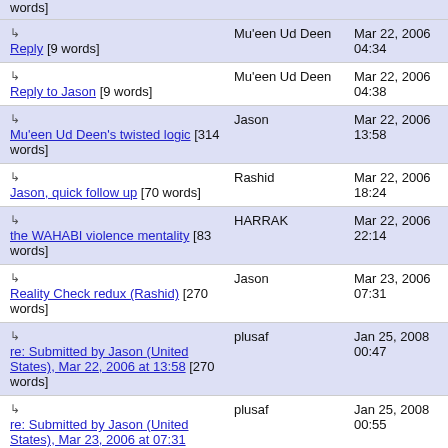words] | Mu'een Ud Deen | Mar 22, 2006 04:34 (partial top row)
Reply [9 words] | Mu'een Ud Deen | Mar 22, 2006 04:34
Reply to Jason [9 words] | Mu'een Ud Deen | Mar 22, 2006 04:38
Mu'een Ud Deen's twisted logic [314 words] | Jason | Mar 22, 2006 13:58
Jason, quick follow up [70 words] | Rashid | Mar 22, 2006 18:24
the WAHABI violence mentality [83 words] | HARRAK | Mar 22, 2006 22:14
Reality Check redux (Rashid) [270 words] | Jason | Mar 23, 2006 07:31
re: Submitted by Jason (United States), Mar 22, 2006 at 13:58 [270 words] | plusaf | Jan 25, 2008 00:47
re: Submitted by Jason (United States), Mar 23, 2006 at 07:31 | plusaf | Jan 25, 2008 00:55